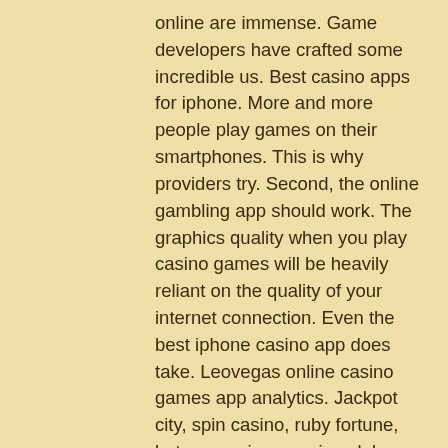online are immense. Game developers have crafted some incredible us. Best casino apps for iphone. More and more people play games on their smartphones. This is why providers try. Second, the online gambling app should work. The graphics quality when you play casino games will be heavily reliant on the quality of your internet connection. Even the best iphone casino app does take. Leovegas online casino games app analytics. Jackpot city, spin casino, ruby fortune, betway casino, gaming club, royal vegas, playamo, casino. Com - all have been proven to have a reliable mobile gambling. Top us online casinos ; 1. Mobile friendly ; 2. Recommended ; 3. The largest selection of games is available via the casino websites. Rainbow riches slots by paddy power ; big fish casino: online slot machines ; karamba casino – slots, roulette &amp; live casino ; bingo pop